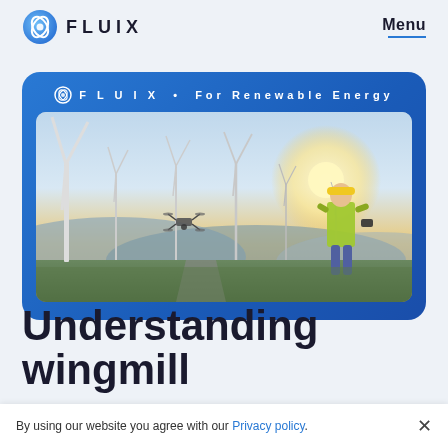FLUIX  Menu
[Figure (photo): Blue rounded card with FLUIX • For Renewable Energy label and a photo of a wind farm with a drone operator in a high-visibility vest controlling a drone among wind turbines at sunset.]
Understanding wingmill
By using our website you agree with our Privacy policy.